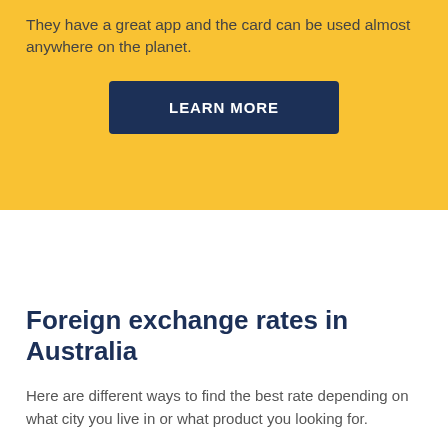They have a great app and the card can be used almost anywhere on the planet.
LEARN MORE
Foreign exchange rates in Australia
Here are different ways to find the best rate depending on what city you live in or what product you looking for.